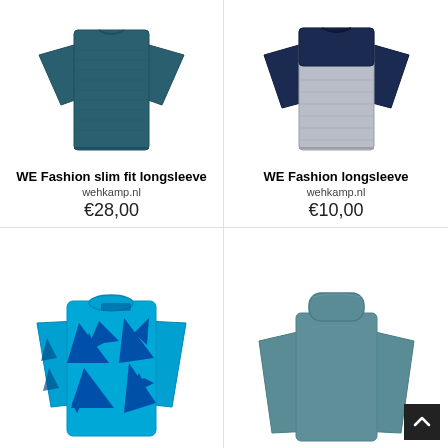[Figure (photo): WE Fashion slim fit longsleeve dark teal blue shirt product photo]
WE Fashion slim fit longsleeve
wehkamp.nl
€28,00
[Figure (photo): WE Fashion longsleeve grey and navy blue shirt product photo]
WE Fashion longsleeve
wehkamp.nl
€10,00
[Figure (photo): Blue longsleeve sweatshirt with geometric pattern in bright blue]
[Figure (photo): Teal/blue turtleneck longsleeve top product photo]